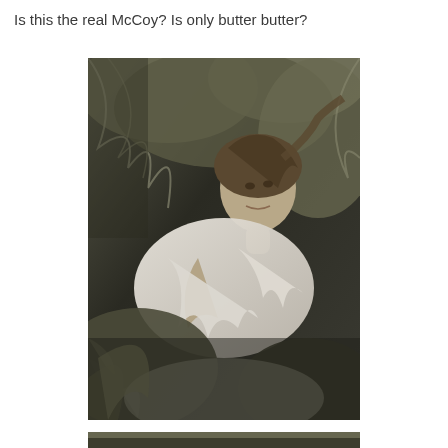Is this the real McCoy? Is only butter butter?
[Figure (photo): Black and white photograph of a woman reclining among large ferns and tropical foliage, partially wrapped in white fabric, looking directly at the camera.]
[Figure (photo): Partially visible black and white photograph at the bottom of the page, showing foliage and ground.]